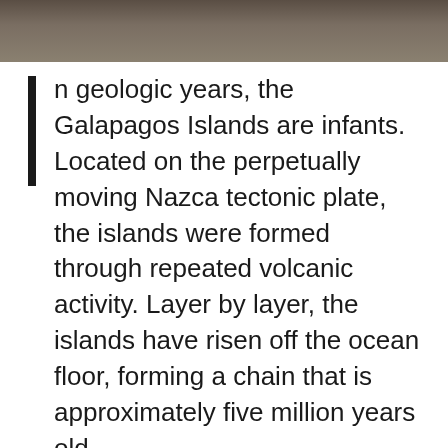[Figure (photo): Top photo strip showing a dark brown/tan textured surface, likely rock or volcanic material]
In geologic years, the Galapagos Islands are infants. Located on the perpetually moving Nazca tectonic plate, the islands were formed through repeated volcanic activity. Layer by layer, the islands have risen off the ocean floor, forming a chain that is approximately five million years old.
The youngest, westernmost islands are still volcanically active and are thought to be no more than 700,000 thousand years old. When the tops of the volcanos first broke through the surface of the Pacific Ocean, 600 kilometers off the coast of mainland Equator,